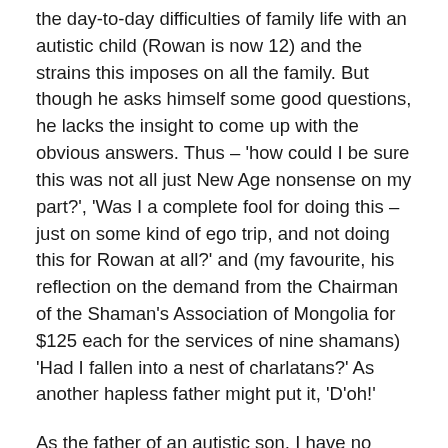the day-to-day difficulties of family life with an autistic child (Rowan is now 12) and the strains this imposes on all the family. But though he asks himself some good questions, he lacks the insight to come up with the obvious answers. Thus – 'how could I be sure this was not all just New Age nonsense on my part?', 'Was I a complete fool for doing this – just on some kind of ego trip, and not doing this for Rowan at all?' and (my favourite, his reflection on the demand from the Chairman of the Shaman's Association of Mongolia for $125 each for the services of nine shamans) 'Had I fallen into a nest of charlatans?' As another hapless father might put it, 'D'oh!'
As the father of an autistic son, I have no doubt that horse-riding can be a highly enjoyable and beneficial activity for people with autism. It combines physical exertion in the